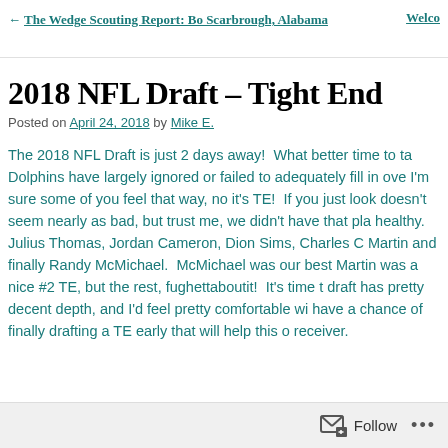← The Wedge Scouting Report: Bo Scarbrough, Alabama   Welco
2018 NFL Draft – Tight End
Posted on April 24, 2018 by Mike E.
The 2018 NFL Draft is just 2 days away!  What better time to ta… Dolphins have largely ignored or failed to adequately fill in ove… I'm sure some of you feel that way, no it's TE!  If you just look doesn't seem nearly as bad, but trust me, we didn't have that pla… healthy.  Julius Thomas, Jordan Cameron, Dion Sims, Charles C… Martin and finally Randy McMichael.  McMichael was our best Martin was a nice #2 TE, but the rest, fughettaboutit!  It's time t… draft has pretty decent depth, and I'd feel pretty comfortable wit… have a chance of finally drafting a TE early that will help this o… receiver.
Follow ...